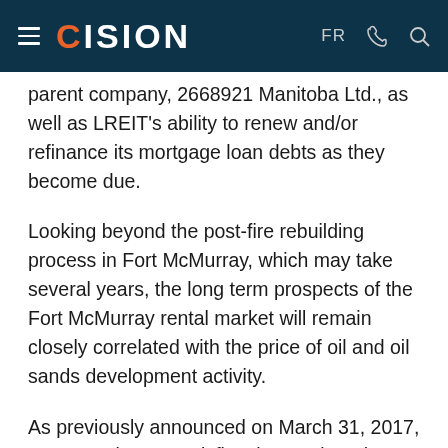CISION
parent company, 2668921 Manitoba Ltd., as well as LREIT's ability to renew and/or refinance its mortgage loan debts as they become due.
Looking beyond the post-fire rebuilding process in Fort McMurray, which may take several years, the long term prospects of the Fort McMurray rental market will remain closely correlated with the price of oil and oil sands development activity.
As previously announced on March 31, 2017, LREIT no longer satisfies the continued listing requirements of the Toronto Stock Exchange and it is not anticipated